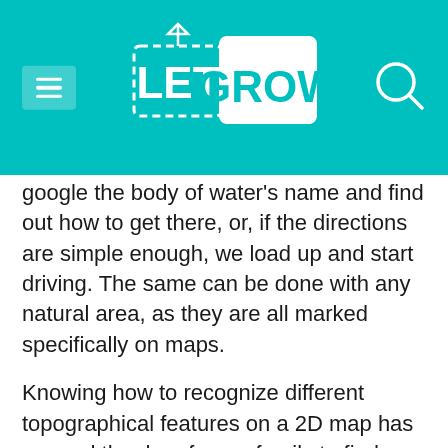[Figure (logo): Let Grow logo in white with dashed border on teal background header, with hamburger menu icon on left and search icon on right]
google the body of water's name and find out how to get there, or, if the directions are simple enough, we load up and start driving. The same can be done with any natural area, as they are all marked specifically on maps.
Knowing how to recognize different topographical features on a 2D map has opened the door for my family to find natural areas that are not listed on park websites or don't have signs for them on the interstate. We've discovered waterfalls in southern California, hidden bays in Cape Cod, and small 10-acre patches of woods in the middle of our city. We get to experience